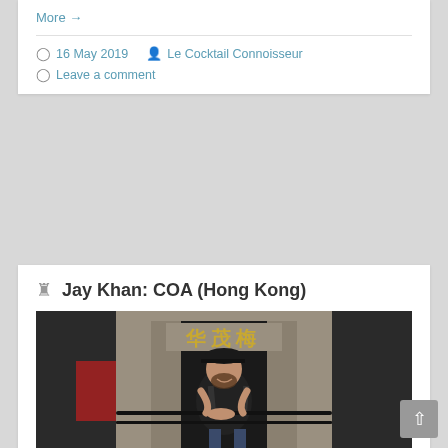More →
16 May 2019  Le Cocktail Connoisseur
Leave a comment
Jay Khan: COA (Hong Kong)
[Figure (photo): Man wearing a black cap and apron, leaning on a black metal railing outside a building with Chinese characters above the entrance. The building facade is stone/concrete. The man is smiling.]